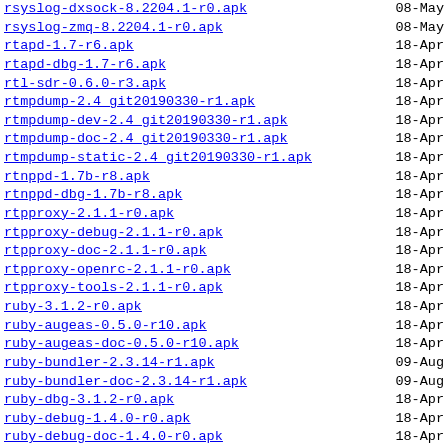rsyslog-dxsock-8.2204.1-r0.apk   08-May
rsyslog-zmq-8.2204.1-r0.apk   08-May
rtapd-1.7-r6.apk   18-Apr
rtapd-dbg-1.7-r6.apk   18-Apr
rtl-sdr-0.6.0-r3.apk   18-Apr
rtmpdump-2.4_git20190330-r1.apk   18-Apr
rtmpdump-dev-2.4_git20190330-r1.apk   18-Apr
rtmpdump-doc-2.4_git20190330-r1.apk   18-Apr
rtmpdump-static-2.4_git20190330-r1.apk   18-Apr
rtnppd-1.7b-r8.apk   18-Apr
rtnppd-dbg-1.7b-r8.apk   18-Apr
rtpproxy-2.1.1-r0.apk   18-Apr
rtpproxy-debug-2.1.1-r0.apk   18-Apr
rtpproxy-doc-2.1.1-r0.apk   18-Apr
rtpproxy-openrc-2.1.1-r0.apk   18-Apr
rtpproxy-tools-2.1.1-r0.apk   18-Apr
ruby-3.1.2-r0.apk   18-Apr
ruby-augeas-0.5.0-r10.apk   18-Apr
ruby-augeas-doc-0.5.0-r10.apk   18-Apr
ruby-bundler-2.3.14-r1.apk   09-Aug
ruby-bundler-doc-2.3.14-r1.apk   09-Aug
ruby-dbg-3.1.2-r0.apk   18-Apr
ruby-debug-1.4.0-r0.apk   18-Apr
ruby-debug-doc-1.4.0-r0.apk   18-Apr
ruby-dev-3.1.2-r0.apk   18-Apr
ruby-doc-3.1.2-r0.apk   18-Apr
ruby-full-3.1.2-r0.apk   18-Apr
ruby-google-protobuf-3.18.1-r2.apk   18-Apr
ruby-libs-3.1.2-r0.apk   18-Apr
ruby-matrix-0.4.2-r0.apk   18-Apr
ruby-matrix-doc-0.4.2-r0.apk   18-Apr